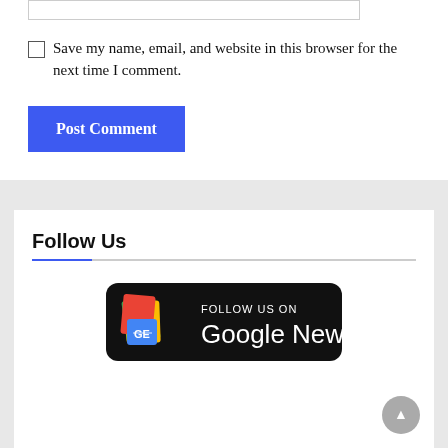Save my name, email, and website in this browser for the next time I comment.
Post Comment
Follow Us
[Figure (logo): Follow Us on Google News badge — black rounded rectangle with Google News icon (colorful stacked cards) and text 'FOLLOW US ON Google News' in white]